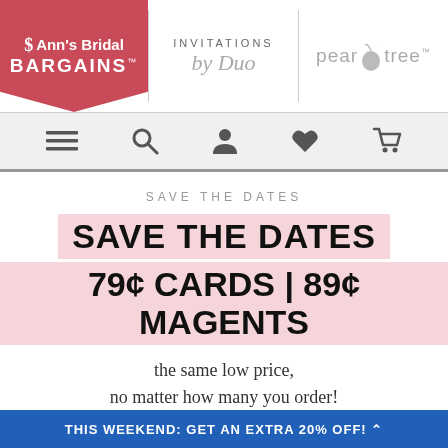[Figure (logo): Ann's Bridal Bargains logo in red, Invitations by Duo script logo, and Pear Tree logo in gray — three brand logos in the page header]
[Figure (screenshot): Navigation bar with hamburger menu, search, account, favorites/heart, and cart icons]
SAVE THE DATES
SAVE THE DATES
79¢ CARDS | 89¢ MAGENTS
the same low price, no matter how many you order!
FILTER
THIS WEEKEND: GET AN EXTRA 20% OFF!